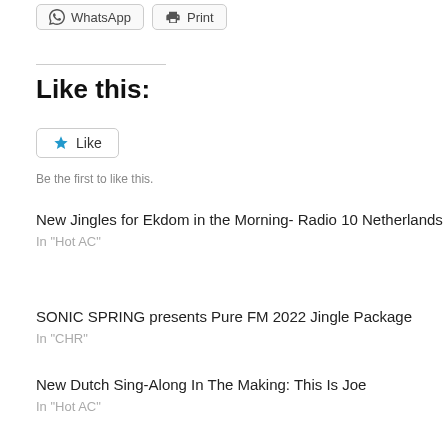[Figure (screenshot): WhatsApp and Print share buttons]
Like this:
[Figure (screenshot): Like button widget with star icon]
Be the first to like this.
New Jingles for Ekdom in the Morning- Radio 10 Netherlands
In "Hot AC"
SONIC SPRING presents Pure FM 2022 Jingle Package
In "CHR"
New Dutch Sing-Along In The Making: This Is Joe
In "Hot AC"